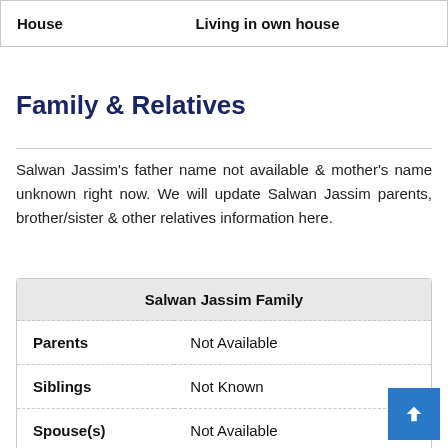| House | Living in own house |
| --- | --- |
Family & Relatives
Salwan Jassim's father name not available & mother's name unknown right now. We will update Salwan Jassim parents, brother/sister & other relatives information here.
| Salwan Jassim Family |
| --- |
| Parents | Not Available |
| Siblings | Not Known |
| Spouse(s) | Not Available |
| Children(s) | Update Soon |